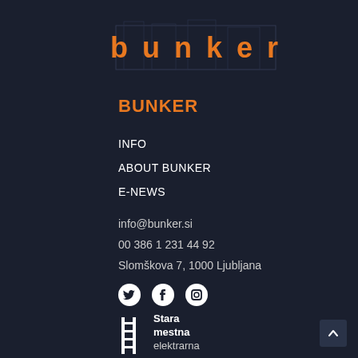[Figure (logo): Bunker logo with orange distressed text 'bunker' on dark background with faint building silhouette]
BUNKER
INFO
ABOUT BUNKER
E-NEWS
info@bunker.si
00 386 1 231 44 92
Slomškova 7, 1000 Ljubljana
[Figure (logo): Social media icons: Twitter, Facebook, Instagram]
[Figure (logo): Stara mestna elektrarna logo with ladder icon and text 'Stara mestna elektrarna']